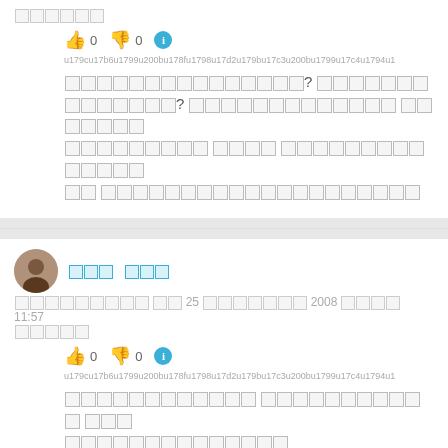[placeholder characters] (tofu/missing glyphs)
👍 0 👎 0 ℹ
u179cu17b6u1799u200bu178fu1798u17d2u179bu17c3u200bu1799u17c4u1794u1...
[Thai/Khmer placeholder text block with question marks]
[author name in Khmer/Thai script]
[date line: 25 ... 2008 ... 11:57]
[reply text placeholder]
👍 0 👎 0 ℹ
u179cu17b6u1799u200bu178fu1798u17d2u179bu17c3u200bu1799u17c4u1794u1...
[comment text placeholder]